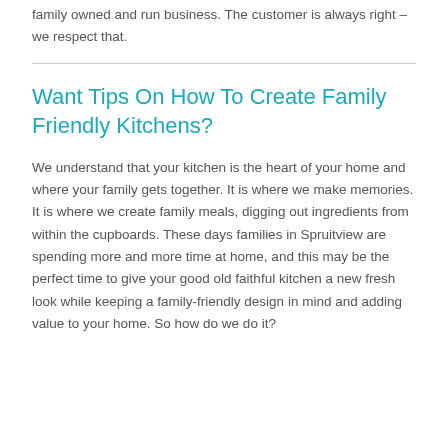family owned and run business. The customer is always right – we respect that.
Want Tips On How To Create Family Friendly Kitchens?
We understand that your kitchen is the heart of your home and where your family gets together. It is where we make memories. It is where we create family meals, digging out ingredients from within the cupboards. These days families in Spruitview are spending more and more time at home, and this may be the perfect time to give your good old faithful kitchen a new fresh look while keeping a family-friendly design in mind and adding value to your home. So how do we do it?